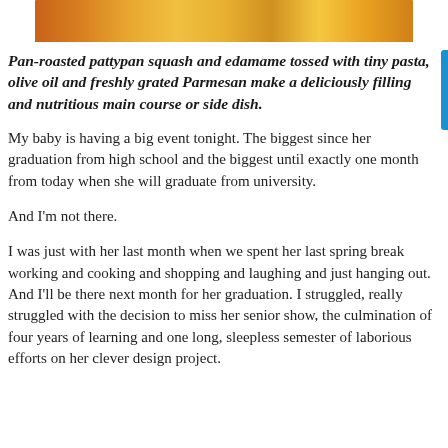[Figure (photo): Partial view of a food dish, appears to show pattypan squash and pasta with orange/yellow colors]
Pan-roasted pattypan squash and edamame tossed with tiny pasta, olive oil and freshly grated Parmesan make a deliciously filling and nutritious main course or side dish.
My baby is having a big event tonight. The biggest since her graduation from high school and the biggest until exactly one month from today when she will graduate from university.
And I'm not there.
I was just with her last month when we spent her last spring break working and cooking and shopping and laughing and just hanging out. And I'll be there next month for her graduation. I struggled, really struggled with the decision to miss her senior show, the culmination of four years of learning and one long, sleepless semester of laborious efforts on her clever design project.